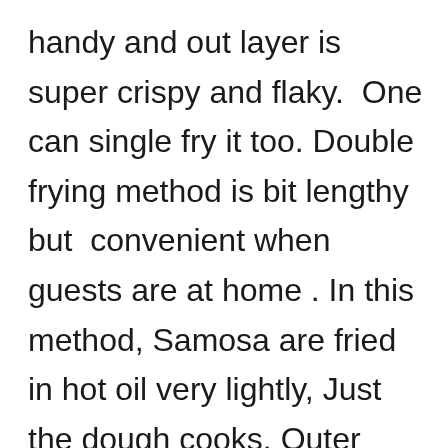handy and out layer is super crispy and flaky.  One can single fry it too. Double frying method is bit lengthy but  convenient when guests are at home . In this method, Samosa are fried in hot oil very lightly, Just the dough cooks. Outer layer color will be creamish white only.  Later lower